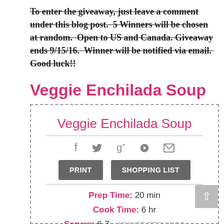To enter the giveaway, just leave a comment under this blog post.  5 Winners will be chosen at random.  Open to US and Canada. Giveaway ends 9/15/16.  Winner will be notified via email.  Good luck!!
Veggie Enchilada Soup
[Figure (other): Recipe card box with dashed border containing: title 'Veggie Enchilada Soup' in pink, social share icons (f, bird/twitter, g+, pinterest, envelope), PRINT and SHOPPING LIST buttons, and metadata: Prep Time: 20 min, Cook Time: 6 hr, Serves: 6-7 with ADJUST SERVINGS link]